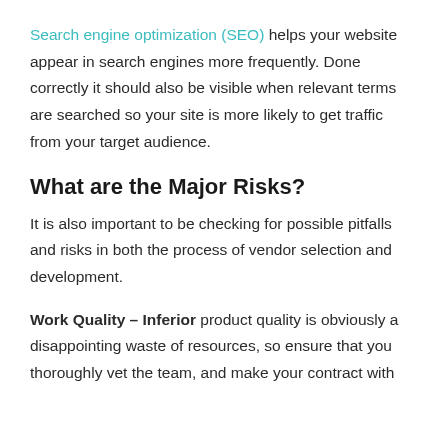Search engine optimization (SEO) helps your website appear in search engines more frequently. Done correctly it should also be visible when relevant terms are searched so your site is more likely to get traffic from your target audience.
What are the Major Risks?
It is also important to be checking for possible pitfalls and risks in both the process of vendor selection and development.
Work Quality – Inferior product quality is obviously a disappointing waste of resources, so ensure that you thoroughly vet the team, and make your contract with